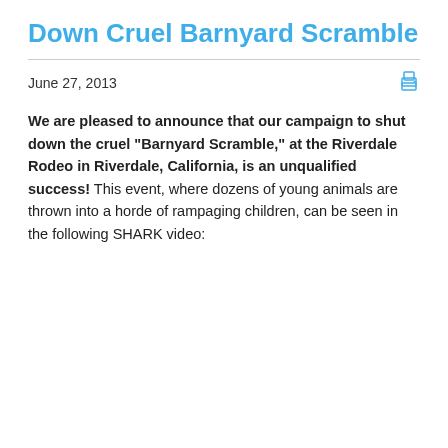Down Cruel Barnyard Scramble
June 27, 2013
We are pleased to announce that our campaign to shut down the cruel "Barnyard Scramble," at the Riverdale Rodeo in Riverdale, California, is an unqualified success! This event, where dozens of young animals are thrown into a horde of rampaging children, can be seen in the following SHARK video: